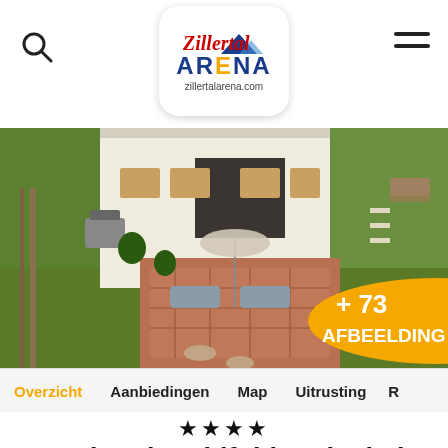[Figure (logo): Zillertal Arena logo with mountain graphic and zillertalarena.com URL, inside rounded white badge]
[Figure (photo): Aerial view of Aparthotel Wohlfühl Ferienheim showing building rooftop, garden, patio with lounge chairs and umbrella, surrounded by green lawn and trees]
+ 73 AFBEELDING
Overzicht    Aanbiedingen    Map    Uitrusting    R
★★★★
Aparthotel Wohlfühl Ferienheim